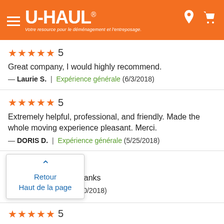U-HAUL® — Votre resource pour le déménagement et l'entreposage.
★★★★★ 5
Great company, I would highly recommend.
— Laurie S. | Expérience générale (6/3/2018)
★★★★★ 5
Extremely helpful, professional, and friendly. Made the whole moving experience pleasant. Merci.
— DORIS D. | Expérience générale (5/25/2018)
★★★★★ 5
No prolems at all!! Thanks
— ... | Expérience générale (5/20/2018)
★★★★★ 5
Retour
Haut de la page